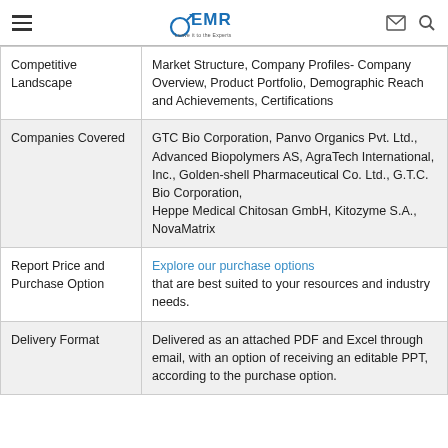EMR - Expert Market Research header with logo, menu, email, and search icons
| Competitive Landscape | Market Structure, Company Profiles- Company Overview, Product Portfolio, Demographic Reach and Achievements, Certifications |
| Companies Covered | GTC Bio Corporation, Panvo Organics Pvt. Ltd., Advanced Biopolymers AS, AgraTech International, Inc., Golden-shell Pharmaceutical Co. Ltd., G.T.C. Bio Corporation,
Heppe Medical Chitosan GmbH, Kitozyme S.A., NovaMatrix |
| Report Price and Purchase Option | Explore our purchase options that are best suited to your resources and industry needs. |
| Delivery Format | Delivered as an attached PDF and Excel through email, with an option of receiving an editable PPT, according to the purchase option. |